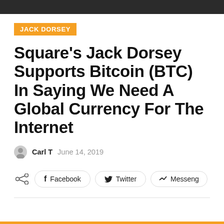JACK DORSEY
Square's Jack Dorsey Supports Bitcoin (BTC) In Saying We Need A Global Currency For The Internet
Carl T   June 14, 2019
Facebook   Twitter   Messeng